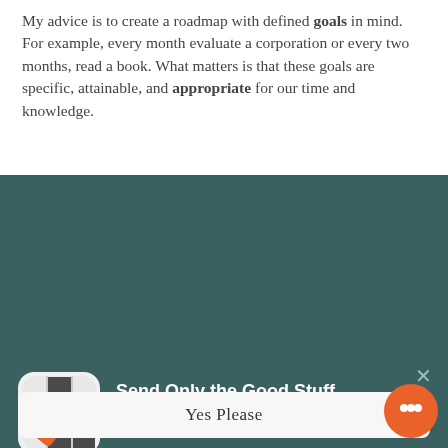My advice is to create a roadmap with defined goals in mind. For example, every month evaluate a corporation or every two months, read a book. What matters is that these goals are specific, attainable, and appropriate for our time and knowledge.
[Figure (screenshot): Newsletter signup popup with dark teal background, app icon (crossword-style grid with orange checkmark), title 'Send Only the Good Stuff', signup text, and a 'Yes Please' button. Overlaid chat widget popup saying 'Questions about bookkeeping services? I'm happy to help.' with an orange chat FAB button.]